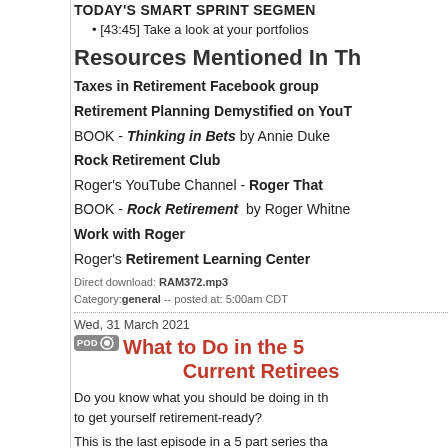TODAY'S SMART SPRINT SEGMENT
[43:45] Take a look at your portfolios
Resources Mentioned In Th...
Taxes in Retirement Facebook group
Retirement Planning Demystified on YouTube
BOOK - Thinking in Bets by Annie Duke
Rock Retirement Club
Roger's YouTube Channel - Roger That
BOOK - Rock Retirement by Roger Whitney
Work with Roger
Roger's Retirement Learning Center
Direct download: RAM372.mp3
Category:general -- posted at: 5:00am CDT
Wed, 31 March 2021
What to Do in the 5... Current Retirees
Do you know what you should be doing in the... to get yourself retirement-ready?
This is the last episode in a 5 part series that... retirement. If you'd like to start at the beginning...
Today we'll hear from the audience. I have...